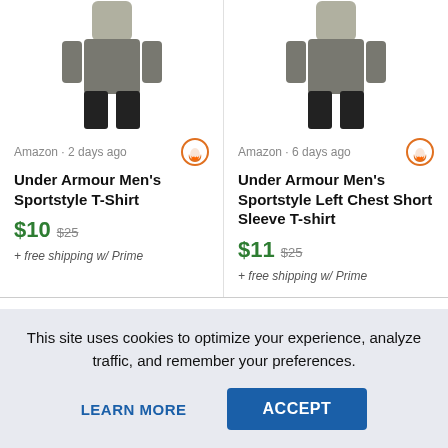[Figure (photo): Product image of Under Armour Men's Sportstyle T-Shirt on a male model, left column]
[Figure (photo): Product image of Under Armour Men's Sportstyle Left Chest Short Sleeve T-shirt on a male model, right column]
Amazon · 2 days ago
Amazon · 6 days ago
Under Armour Men's Sportstyle T-Shirt
Under Armour Men's Sportstyle Left Chest Short Sleeve T-shirt
$10  $25  + free shipping w/ Prime
$11  $25  + free shipping w/ Prime
Comments
Leave a comment!
This site uses cookies to optimize your experience, analyze traffic, and remember your preferences.
LEARN MORE
ACCEPT